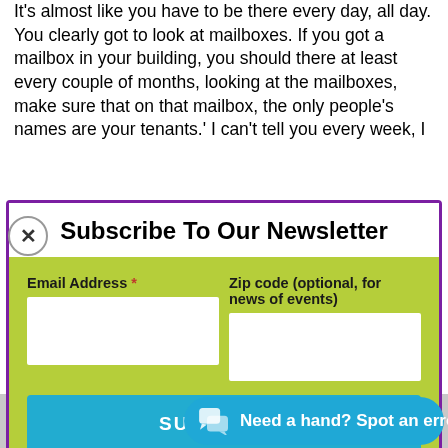It's almost like you have to be there every day, all day. You clearly got to look at mailboxes. If you got a mailbox in your building, you should there at least every couple of months, looking at the mailboxes, make sure that on that mailbox, the only people's names are your tenants.' I can't tell you every week, I
[Figure (screenshot): Newsletter subscription modal popup with purple border, white title area, and yellow-green form area containing email address and zip code fields and a blue SUBSCRIBE button]
Rich: Let's just take your properties, you looking at mailboxes. I actually take a picture of the